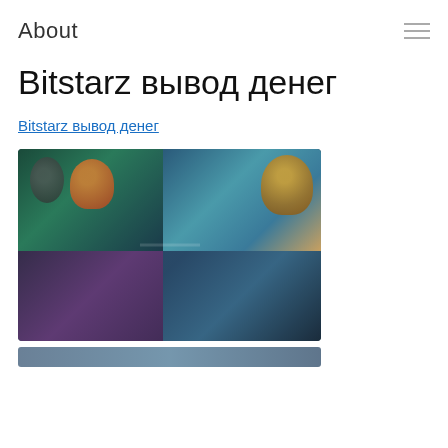About
Bitstarz вывод денег
Bitstarz вывод денег
[Figure (screenshot): Blurred screenshot of a gaming/casino website showing various game thumbnails with cartoon characters on teal and dark backgrounds]